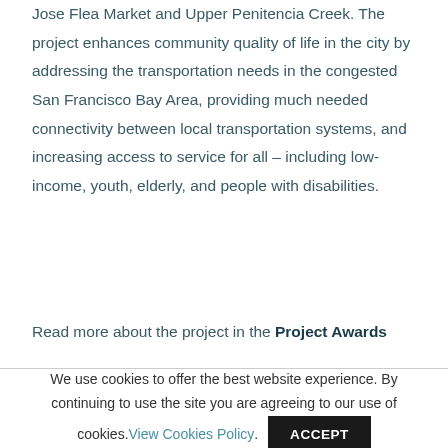Jose Flea Market and Upper Penitencia Creek. The project enhances community quality of life in the city by addressing the transportation needs in the congested San Francisco Bay Area, providing much needed connectivity between local transportation systems, and increasing access to service for all – including low-income, youth, elderly, and people with disabilities.
Read more about the project in the Project Awards
We use cookies to offer the best website experience. By continuing to use the site you are agreeing to our use of cookies. View Cookies Policy. ACCEPT